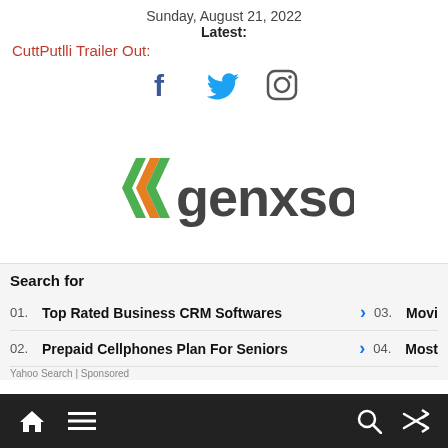Sunday, August 21, 2022
Latest:
CuttPutlli Trailer Out:
[Figure (infographic): Social media icons: Facebook, Twitter, Instagram]
[Figure (logo): genxsoft logo with green and orange angular chevron icon and dark grey text]
Search for
01. Top Rated Business CRM Softwares
02. Prepaid Cellphones Plan For Seniors
03. Movi
04. Most
Yahoo Search | Sponsored
Home Menu Search Shuffle navigation bar